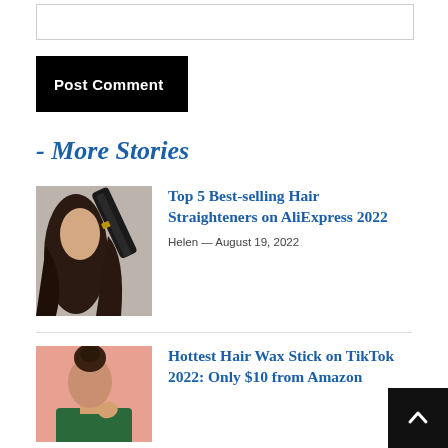[Figure (other): Comment text input box (empty)]
Post Comment
- More Stories
[Figure (photo): Woman with hair straightener tool on dark background]
Top 5 Best-selling Hair Straighteners on AliExpress 2022
Helen — August 19, 2022
[Figure (photo): Woman with hair bun on pink background]
Hottest Hair Wax Stick on TikTok 2022: Only $10 from Amazon